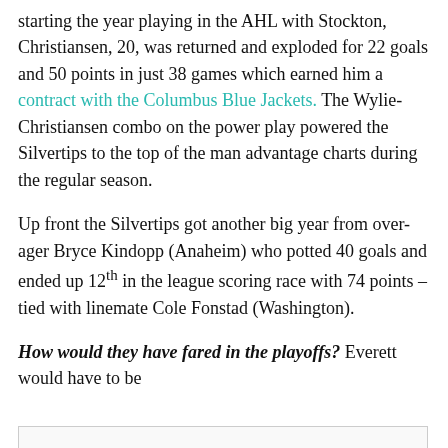starting the year playing in the AHL with Stockton, Christiansen, 20, was returned and exploded for 22 goals and 50 points in just 38 games which earned him a contract with the Columbus Blue Jackets. The Wylie-Christiansen combo on the power play powered the Silvertips to the top of the man advantage charts during the regular season.
Up front the Silvertips got another big year from over-ager Bryce Kindopp (Anaheim) who potted 40 goals and ended up 12th in the league scoring race with 74 points – tied with linemate Cole Fonstad (Washington).
How would they have fared in the playoffs? Everett would have to be